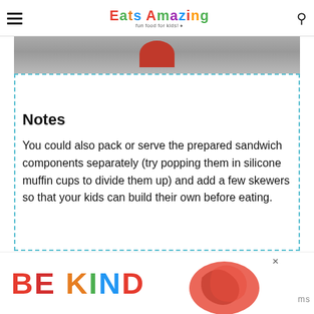Eats Amazing - fun food for kids!
[Figure (photo): Partial photo showing a red circular shape against a grey/black background, top portion of food image]
Notes
You could also pack or serve the prepared sandwich components separately (try popping them in silicone muffin cups to divide them up) and add a few skewers so that your kids can build their own before eating.
[Figure (illustration): BE KIND advertisement banner with colorful letters and decorative red illustration]